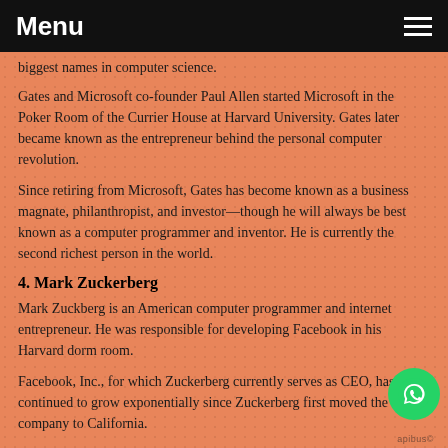Menu
biggest names in computer science.
Gates and Microsoft co-founder Paul Allen started Microsoft in the Poker Room of the Currier House at Harvard University. Gates later became known as the entrepreneur behind the personal computer revolution.
Since retiring from Microsoft, Gates has become known as a business magnate, philanthropist, and investor—though he will always be best known as a computer programmer and inventor. He is currently the second richest person in the world.
4. Mark Zuckerberg
Mark Zuckberg is an American computer programmer and internet entrepreneur. He was responsible for developing Facebook in his Harvard dorm room.
Facebook, Inc., for which Zuckerberg currently serves as CEO, has continued to grow exponentially since Zuckerberg first moved the company to California.
The official salary as CEO of Facebook is around the $1...